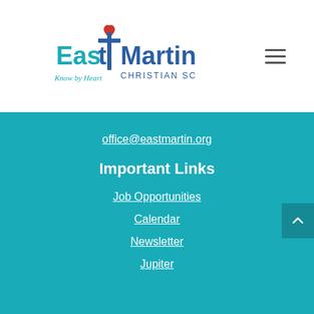[Figure (logo): East Martin Christian School logo with cross icon and tagline 'Know by Heart']
office@eastmartin.org
Important Links
Job Opportunities
Calendar
Newsletter
Jupiter